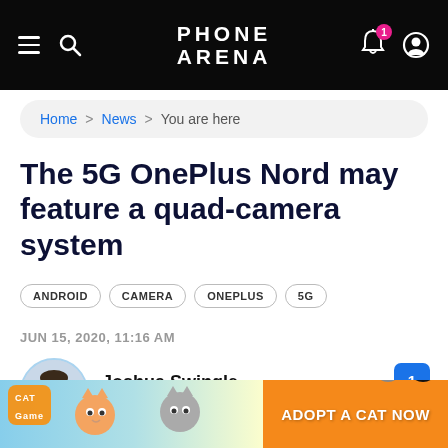PHONE ARENA
Home > News > You are here
The 5G OnePlus Nord may feature a quad-camera system
ANDROID
CAMERA
ONEPLUS
5G
JUN 15, 2020, 11:16 AM
Joshua Swingle
@joshuaswingle
[Figure (photo): Advertisement banner: Cat Game - Adopt a Cat Now]